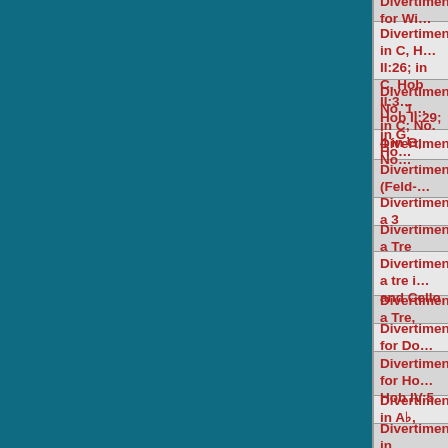Divertimenti for Wi…
Divertimenti: in C, H… II:26; in C, Hob II:3… Hob II:29; in G, Ho…
Divertimenti: No. 1… in C; No. 4 in G; No…
Divertimento
Divertimento (Feld-…
Divertimento a 3
Divertimento a Tre
Divertimento a tre i… and Cello
Divertimento a Tre,
Divertimento for Do…
Divertimento for Ho… Hob IV:5
Divertimento in A♭,
Divertimento in…